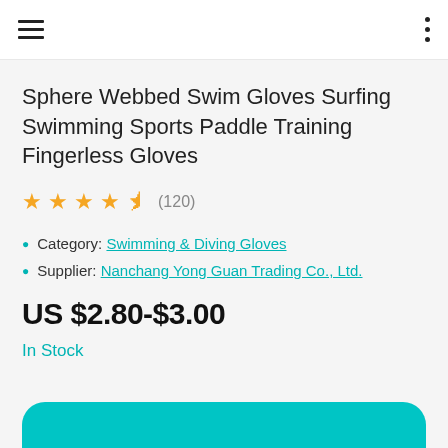Navigation header with hamburger menu and options menu
Sphere Webbed Swim Gloves Surfing Swimming Sports Paddle Training Fingerless Gloves
★★★★½ (120)
Category: Swimming & Diving Gloves
Supplier: Nanchang Yong Guan Trading Co., Ltd.
US $2.80-$3.00
In Stock